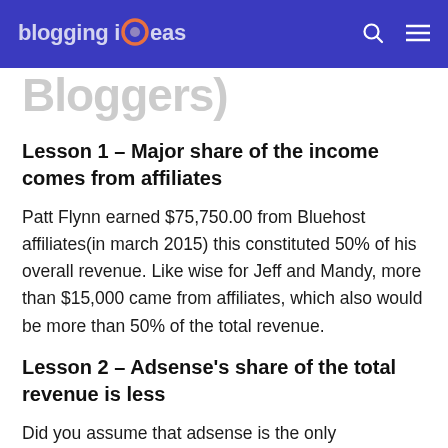blogging iOeas
Bloggers)
Lesson 1 – Major share of the income comes from affiliates
Patt Flynn earned $75,750.00 from Bluehost affiliates(in march 2015) this constituted 50% of his overall revenue. Like wise for Jeff and Mandy, more than $15,000 came from affiliates, which also would be more than 50% of the total revenue.
Lesson 2 – Adsense's share of the total revenue is less
Did you assume that adsense is the only